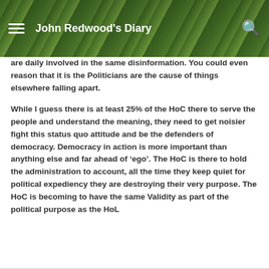John Redwood's Diary
are daily involved in the same disinformation. You could even reason that it is the Politicians are the cause of things elsewhere falling apart.
While I guess there is at least 25% of the HoC there to serve the people and understand the meaning, they need to get noisier fight this status quo attitude and be the defenders of democracy. Democracy in action is more important than anything else and far ahead of ‘ego’. The HoC is there to hold the administration to account, all the time they keep quiet for political expediency they are destroying their very purpose. The HoC is becoming to have the same Validity as part of the political purpose as the HoL